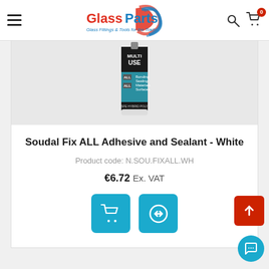[Figure (logo): GlassParts logo with red and blue swoosh design and tagline 'Glass Fittings & Tools for the Trade']
[Figure (photo): Soudal Fix ALL adhesive and sealant tube showing 'MULTI USE', 'ALL Bonding Sealing', 'ALL Materials Surfaces', 'SFE HYBRID POLY' label]
Soudal Fix ALL Adhesive and Sealant - White
Product code: N.SOU.FIXALL.WH
€6.72 Ex. VAT